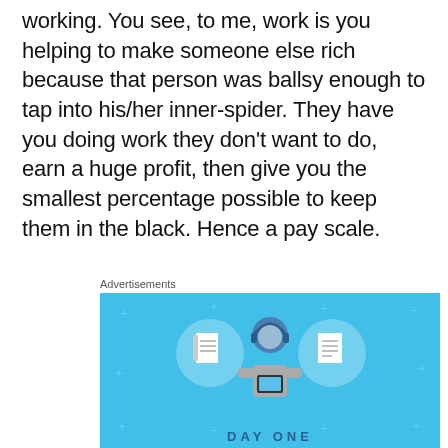working. You see, to me, work is you helping to make someone else rich because that person was ballsy enough to tap into his/her inner-spider. They have you doing work they don't want to do, earn a huge profit, then give you the smallest percentage possible to keep them in the black. Hence a pay scale.
Advertisements
[Figure (illustration): Advertisement banner with light blue background showing a person holding a phone, flanked by two circular icons (notebook and lined document), with small plus signs scattered around and text 'DAY ONE' at the bottom.]